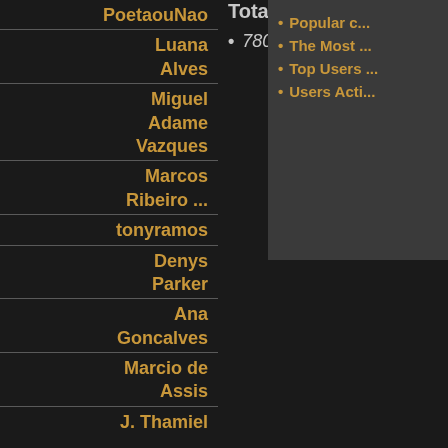PoetaouNao
Luana Alves
Miguel Adame Vazques
Marcos Ribeiro ...
tonyramos
Denys Parker
Ana Goncalves
Marcio de Assis
J. Thamiel
Total users
7805 users
Popular c...
The Most ...
Top Users ...
Users Acti...